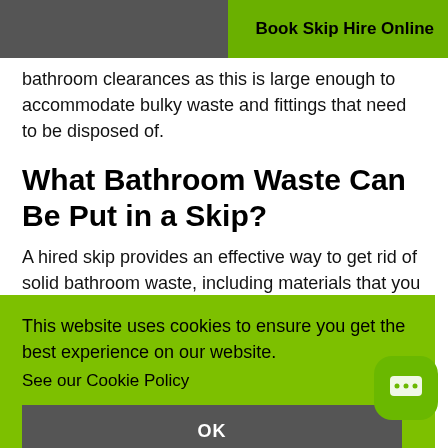Book Skip Hire Online
bathroom clearances as this is large enough to accommodate bulky waste and fittings that need to be disposed of.
What Bathroom Waste Can Be Put in a Skip?
A hired skip provides an effective way to get rid of solid bathroom waste, including materials that you may struggle to
This website uses cookies to ensure you get the best experience on our website. See our Cookie Policy
OK
tiles, concrete, bricks, crushed rock and gravel